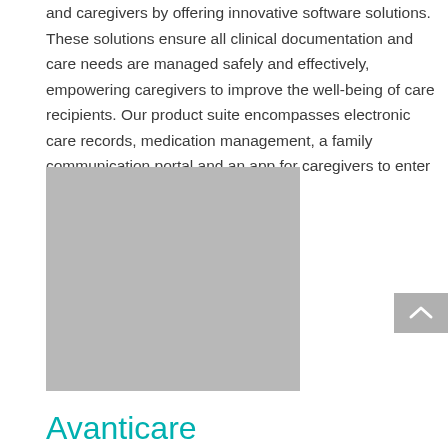and caregivers by offering innovative software solutions. These solutions ensure all clinical documentation and care needs are managed safely and effectively, empowering caregivers to improve the well-being of care recipients. Our product suite encompasses electronic care records, medication management, a family communication portal and an app for caregivers to enter data on the go.
[Figure (photo): A grey placeholder image representing a product or software screenshot]
Avanticare